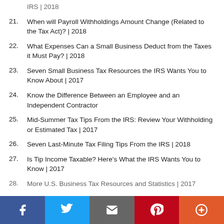IRS | 2018
21.  When will Payroll Withholdings Amount Change (Related to the Tax Act)? | 2018
22.  What Expenses Can a Small Business Deduct from the Taxes it Must Pay? | 2018
23.  Seven Small Business Tax Resources the IRS Wants You to Know About | 2017
24.  Know the Difference Between an Employee and an Independent Contractor
25.  Mid-Summer Tax Tips From the IRS: Review Your Withholding or Estimated Tax | 2017
26.  Seven Last-Minute Tax Filing Tips From the IRS | 2018
27.  Is Tip Income Taxable? Here's What the IRS Wants You to Know | 2017
28.  More U.S. Business Tax Resources and Statistics | 2017